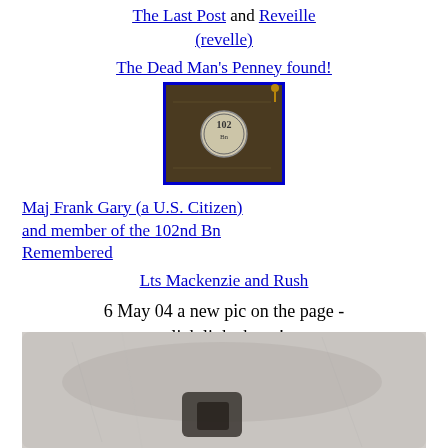The Last Post and Reveille (revelle)
The Dead Man's Penney found!
[Figure (photo): A military battalion flag/colour with a circular emblem (102nd Bn), framed with a blue border, displayed on a dark background with a flagpole finial.]
Maj Frank Gary (a U.S. Citizen) and member of the 102nd Bn Remembered
Lts Mackenzie and Rush
6 May 04 a new pic on the page - click link above!
[Figure (photo): Black and white historical photograph, partially cropped, showing an indistinct figure or object.]